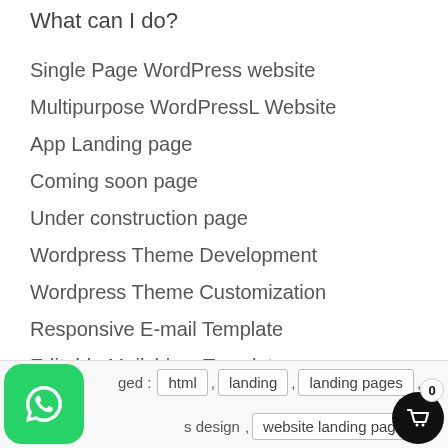What can I do?
Single Page WordPress website
Multipurpose WordPressL Website
App Landing page
Coming soon page
Under construction page
Wordpress Theme Development
Wordpress Theme Customization
Responsive E-mail Template
Editable Mailchimp Template
*** 100% money back guaranty & 100 % Satisfaction ***
Tagged : html , landing , landing pages , landing pages design , website landing page